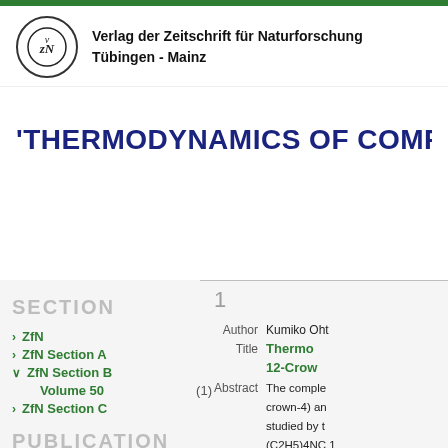[Figure (logo): Verlag der Zeitschrift für Naturforschung circular logo with VzN monogram]
Verlag der Zeitschrift für Naturforschung
Tübingen - Mainz
'THERMODYNAMICS OF COMPLEXA
SECTION
> ZfN
> ZfN Section A
∨ ZfN Section B
Volume 50    (1)
> ZfN Section C
PUBLICATION
1
Author   Kumiko Oht
Title   Thermo
12-Crow
Abstract   The comple
crown-4) an
studied by t
(C2H5)4NC 1